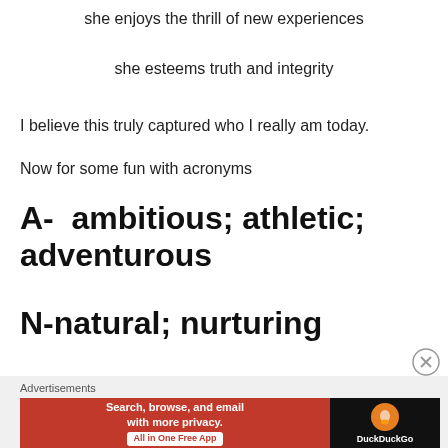she enjoys the thrill of new experiences
she esteems truth and integrity
I believe this truly captured who I really am today.
Now for some fun with acronyms
A-  ambitious; athletic; adventurous
N-natural; nurturing
Advertisements
Search, browse, and email with more privacy. All in One Free App
DuckDuckGo